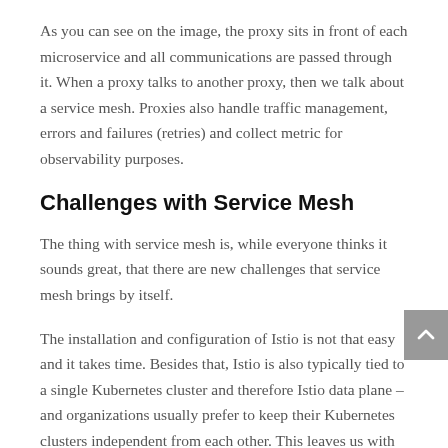As you can see on the image, the proxy sits in front of each microservice and all communications are passed through it. When a proxy talks to another proxy, then we talk about a service mesh. Proxies also handle traffic management, errors and failures (retries) and collect metric for observability purposes.
Challenges with Service Mesh
The thing with service mesh is, while everyone thinks it sounds great, that there are new challenges that service mesh brings by itself.
The installation and configuration of Istio is not that easy and it takes time. Besides that, Istio is also typically tied to a single Kubernetes cluster and therefore Istio data plane – and organizations usually prefer to keep their Kubernetes clusters independent from each other. This leaves us with